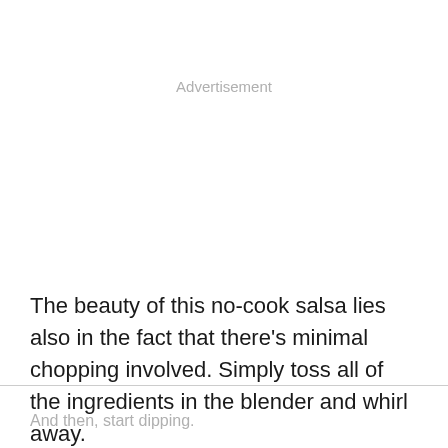Advertisement
The beauty of this no-cook salsa lies also in the fact that there's minimal chopping involved. Simply toss all of the ingredients in the blender and whirl away.
And then, start dipping.